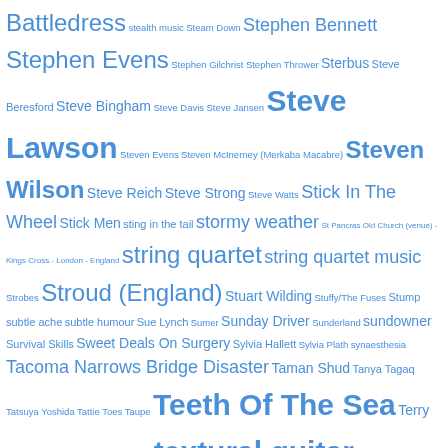Tag cloud including: Battledress stealth music Steam Down Stephen Bennett Stephen Evens Stephen Gilchrist Stephen Thrower Sterbus Steve Beresford Steve Bingham Steve Davis Steve Jansen Steve Lawson Steven Evens Steven McInerney (Merkaba Macabre) Steven Wilson Steve Reich Steve Strong Steve Watts Stick In The Wheel Stick Men sting in the tail stormy weather St Pancras Old Church (venue) - Kings Cross - London - England string quartet string quartet music Strobes Stroud (England) Stuart Wilding Stuffy/The Fuses Stump subtle ache subtle humour Sue Lynch Sumer Sunday Driver Sunderland sundowner Survival Skills Sweet Deals On Surgery Sylvia Hallett Sylvia Plath synaesthesia Tacoma Narrows Bridge Disaster Taman Shud Tanya Tagaq Tatsuya Yoshida Tattie Toes Taupe Teeth Of The Sea Terry Bickers Terry Riley Test Dept. textural guitar music TEYR that '70s shows up Thea Musgrave The Arensky Chamber Orchestra The Blue Aeroplanes the buds and spawn of Cardiacs and Tim Smith The Burns Unit The Cesarians The Cockpit Theatre (venue) - Lisson Grove - London The Cornshed Sisters The Crimson ProjeKct The Cry Baby The Cure The Display Team The Earls Of Mars The Ecstatic Music Festival (event) The Evil